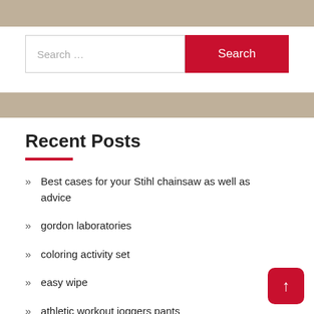[Figure (other): Tan/beige decorative bar at top of page]
[Figure (other): Search bar with text input and red Search button]
[Figure (other): Tan/beige decorative bar in middle of page]
Recent Posts
Best cases for your Stihl chainsaw as well as advice
gordon laboratories
coloring activity set
easy wipe
athletic workout joggers pants